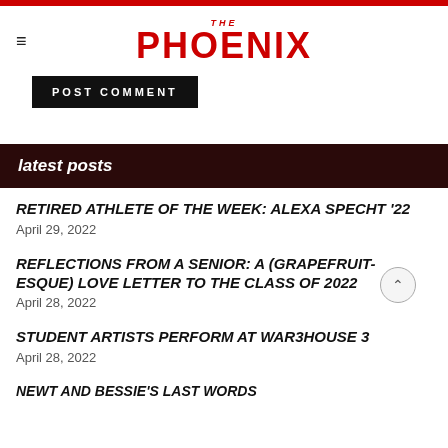THE PHOENIX
POST COMMENT
latest posts
RETIRED ATHLETE OF THE WEEK: ALEXA SPECHT '22
April 29, 2022
REFLECTIONS FROM A SENIOR: A (GRAPEFRUIT-ESQUE) LOVE LETTER TO THE CLASS OF 2022
April 28, 2022
STUDENT ARTISTS PERFORM AT WAR3HOUSE 3
April 28, 2022
NEWT AND BESSIE'S LAST WORDS